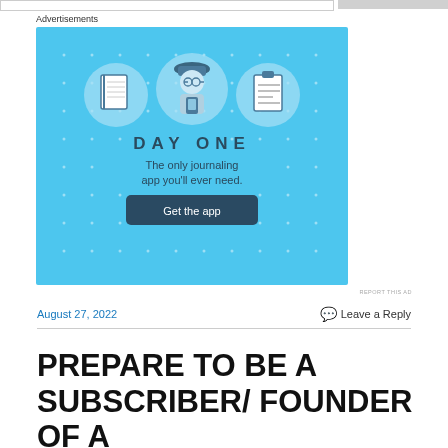[Figure (illustration): Day One journaling app advertisement. Blue background with star dots pattern. Three circular icons at top showing a notebook, a person using a phone with hat, and a clipboard/list. Text reads 'DAY ONE' in large spaced letters, subtitle 'The only journaling app you'll ever need.' and a dark blue button 'Get the app'. Above box label 'Advertisements'. Below box small text 'REPORT THIS AD'.]
August 27, 2022
Leave a Reply
PREPARE TO BE A SUBSCRIBER/ FOUNDER OF A